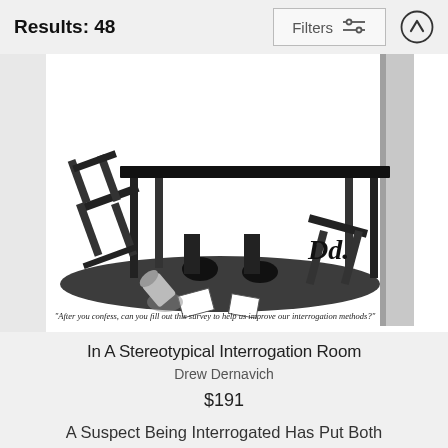Results: 48
[Figure (screenshot): Filters button with sliders icon and up-arrow circle button in top bar]
[Figure (illustration): Black and white New Yorker cartoon showing an interrogation room with overturned chairs and a table, scattered papers, with caption: 'After you confess, can you fill out this survey to help us improve our interrogation methods?']
In A Stereotypical Interrogation Room
Drew Dernavich
$191
A Suspect Being Interrogated Has Put Both